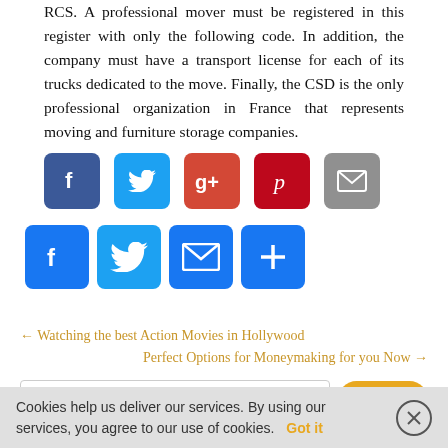RCS. A professional mover must be registered in this register with only the following code. In addition, the company must have a transport license for each of its trucks dedicated to the move. Finally, the CSD is the only professional organization in France that represents moving and furniture storage companies.
[Figure (infographic): Row of social media share buttons: Facebook (dark blue), Twitter (light blue), Google+ (red), Pinterest (red), Email (gray)]
[Figure (infographic): Second row of social share buttons: Facebook (blue), Twitter (blue), Email (blue), Share/Add (blue)]
← Watching the best Action Movies in Hollywood
Perfect Options for Moneymaking for you Now →
Search...
Cookies help us deliver our services. By using our services, you agree to our use of cookies. Got it